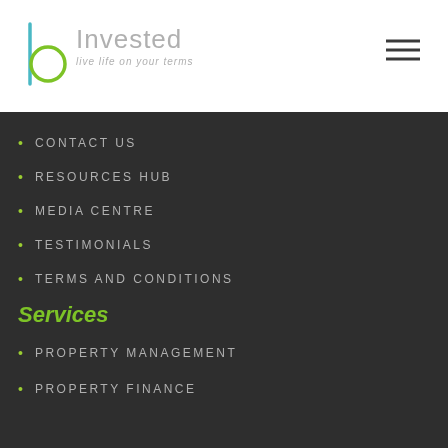[Figure (logo): bInvested logo with teal/green 'b' letterform and grey 'Invested' text, tagline 'live life on your terms']
CONTACT US
RESOURCES HUB
MEDIA CENTRE
TESTIMONIALS
TERMS AND CONDITIONS
Services
PROPERTY MANAGEMENT
PROPERTY FINANCE